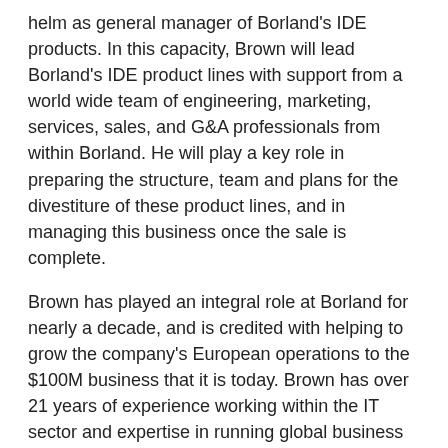helm as general manager of Borland's IDE products. In this capacity, Brown will lead Borland's IDE product lines with support from a world wide team of engineering, marketing, services, sales, and G&A professionals from within Borland. He will play a key role in preparing the structure, team and plans for the divestiture of these product lines, and in managing this business once the sale is complete.
Brown has played an integral role at Borland for nearly a decade, and is credited with helping to grow the company's European operations to the $100M business that it is today. Brown has over 21 years of experience working within the IT sector and expertise in running global business operations. Matthew Thompson, Borland's senior vice president of worldwide sales, will serve as head of the EMEA region for Borland until a replacement is named.
Nigel Brown Background Information